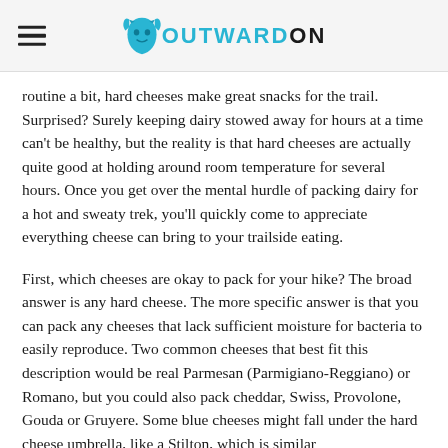OUTWARDON
routine a bit, hard cheeses make great snacks for the trail. Surprised? Surely keeping dairy stowed away for hours at a time can't be healthy, but the reality is that hard cheeses are actually quite good at holding around room temperature for several hours. Once you get over the mental hurdle of packing dairy for a hot and sweaty trek, you'll quickly come to appreciate everything cheese can bring to your trailside eating.
First, which cheeses are okay to pack for your hike? The broad answer is any hard cheese. The more specific answer is that you can pack any cheeses that lack sufficient moisture for bacteria to easily reproduce. Two common cheeses that best fit this description would be real Parmesan (Parmigiano-Reggiano) or Romano, but you could also pack cheddar, Swiss, Provolone, Gouda or Gruyere. Some blue cheeses might fall under the hard cheese umbrella, like a Stilton, which is similar